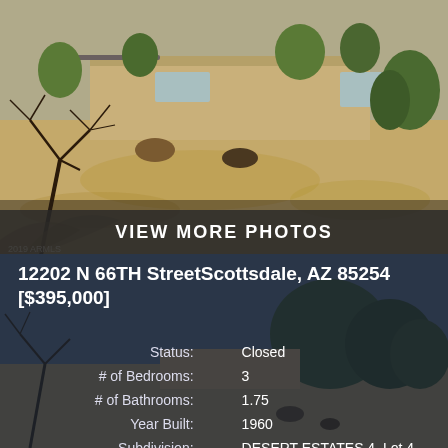[Figure (photo): Exterior photo of single-story desert home with dry sandy yard, bare trees in foreground, and carport visible, 2019 ARMLS watermark]
VIEW MORE PHOTOS
12202 N 66TH StreetScottsdale, AZ 85254
[$395,000]
| Field | Value |
| --- | --- |
| Status: | Closed |
| # of Bedrooms: | 3 |
| # of Bathrooms: | 1.75 |
| Year Built: | 1960 |
| Subdivision: | DESERT ESTATES 4, Lot 4 |